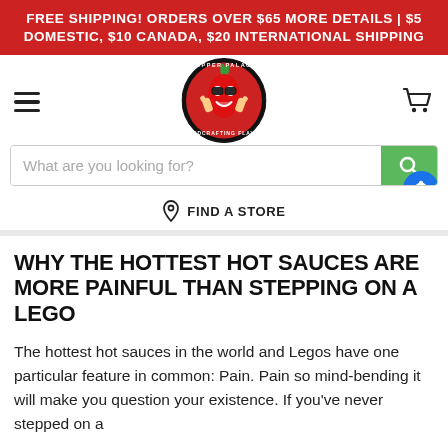FREE SHIPPING! ORDERS OVER $65 MORE DETAILS | $5 DOMESTIC, $10 CANADA, $20 INTERNATIONAL SHIPPING
[Figure (logo): Pepper Palace logo: circular badge with cartoon red chili pepper character wearing sunglasses and giving thumbs up, text reads PEPPER PALACE HANDCRAFTING FLAVOR]
What are you looking for?
FIND A STORE
WHY THE HOTTEST HOT SAUCES ARE MORE PAINFUL THAN STEPPING ON A LEGO
The hottest hot sauces in the world and Legos have one particular feature in common: Pain. Pain so mind-bending it will make you question your existence. If you've never stepped on a